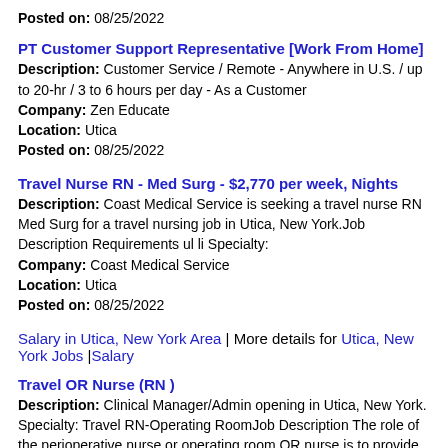Posted on: 08/25/2022
PT Customer Support Representative [Work From Home]
Description: Customer Service / Remote - Anywhere in U.S. / up to 20-hr / 3 to 6 hours per day - As a Customer
Company: Zen Educate
Location: Utica
Posted on: 08/25/2022
Travel Nurse RN - Med Surg - $2,770 per week, Nights
Description: Coast Medical Service is seeking a travel nurse RN Med Surg for a travel nursing job in Utica, New York.Job Description Requirements ul li Specialty:
Company: Coast Medical Service
Location: Utica
Posted on: 08/25/2022
Salary in Utica, New York Area | More details for Utica, New York Jobs |Salary
Travel OR Nurse (RN )
Description: Clinical Manager/Admin opening in Utica, New York. Specialty: Travel RN-Operating RoomJob Description The role of the perioperative nurse or operating room OR nurse is to provide